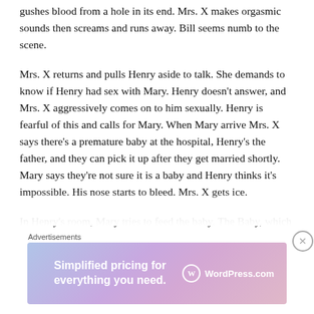gushes blood from a hole in its end. Mrs. X makes orgasmic sounds then screams and runs away. Bill seems numb to the scene.
Mrs. X returns and pulls Henry aside to talk. She demands to know if Henry had sex with Mary. Henry doesn't answer, and Mrs. X aggressively comes on to him sexually. Henry is fearful of this and calls for Mary. When Mary arrive Mrs. X says there's a premature baby at the hospital, Henry's the father, and they can pick it up after they get married shortly. Mary says they're not sure it is a baby and Henry thinks it's impossible. His nose starts to bleed. Mrs. X gets ice.
In Henry's room, Mary tries to feed the baby. The Baby, which looks like the spermatozoon creature, has a strange reptile head and bandages around its body. The Baby spits...
Advertisements
[Figure (other): WordPress.com advertisement banner with gradient pink-blue background. Text reads 'Simplified pricing for everything you need.' with WordPress.com logo on the right.]